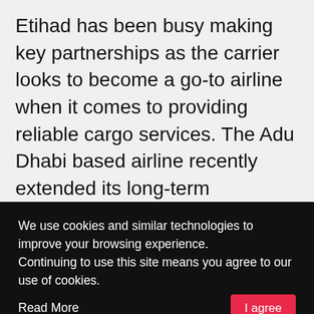Etihad has been busy making key partnerships as the carrier looks to become a go-to airline when it comes to providing reliable cargo services. The Adu Dhabi based airline recently extended its long-term partnership with Jettainer after it signed a 5-year contract with the ULD supplier. After comprehensive analysis on the requirements of Etihad and its customers, Jettainer will now equip the airline's entire ULD fleet with Bluetooth low energy (BLE) tags. This will enable Etihad Cargo to … [Read more…]
We use cookies and similar technologies to improve your browsing experience.
Continuing to use this site means you agree to our use of cookies.    Read More